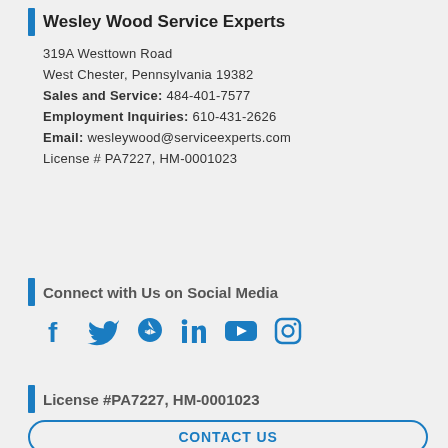Wesley Wood Service Experts
319A Westtown Road
West Chester, Pennsylvania 19382
Sales and Service: 484-401-7577
Employment Inquiries: 610-431-2626
Email: wesleywood@serviceexperts.com
License # PA7227, HM-0001023
Connect with Us on Social Media
[Figure (infographic): Social media icons: Facebook, Twitter, Yelp, LinkedIn, YouTube, Instagram - all in blue]
License #PA7227, HM-0001023
CONTACT US